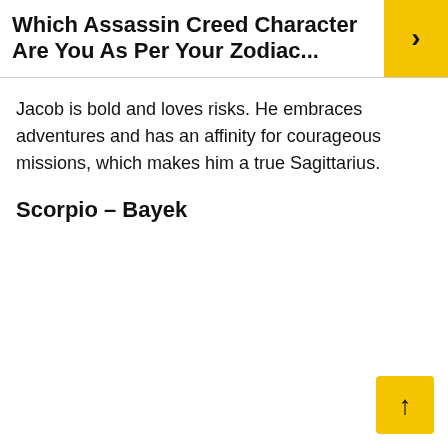Which Assassin Creed Character Are You As Per Your Zodiac...
Jacob is bold and loves risks. He embraces adventures and has an affinity for courageous missions, which makes him a true Sagittarius.
Scorpio – Bayek